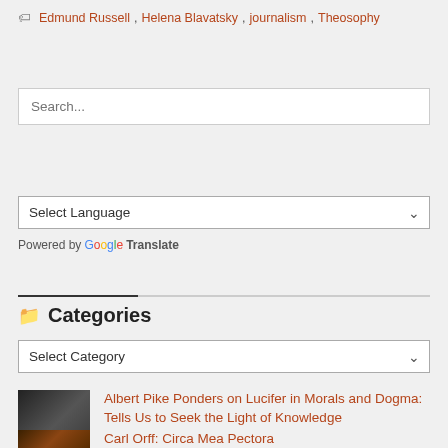Edmund Russell, Helena Blavatsky, journalism, Theosophy
Search...
Select Language
Powered by Google Translate
Categories
Select Category
Albert Pike Ponders on Lucifer in Morals and Dogma: Tells Us to Seek the Light of Knowledge
Carl Orff: Circa Mea Pectora